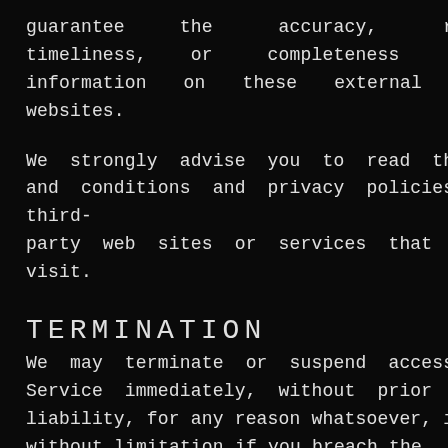guarantee the accuracy, relevance, timeliness, or completeness of any information on these external websites.
We strongly advise you to read the terms and conditions and privacy policies of any third-party web sites or services that you visit.
TERMINATION
We may terminate or suspend access to our Service immediately, without prior notice or liability, for any reason whatsoever, including without limitation if you breach the Terms.